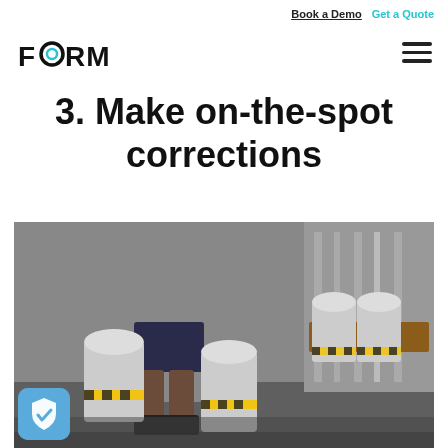Book a Demo  Get a Quote
[Figure (logo): FORM logo with stylized O]
3. Make on-the-spot corrections
[Figure (photo): Worker in industrial brewery carrying metal kegs, with rows of kegs stacked on pallets in background]
[Figure (other): Blue shield/checkmark badge icon in bottom left corner]